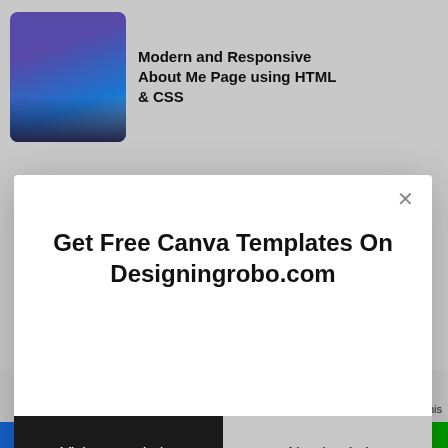[Figure (screenshot): Thumbnail image of a web page card showing 'Modern and Responsive About Me Page using HTML & CSS' with a purple-blue gradient thumbnail on the left and bold title text on the right]
Modern and Responsive About Me Page using HTML & CSS
[Figure (screenshot): Dark navy/purple preview strip of a web design tutorial page]
[Figure (screenshot): Modal popup overlay with close button, heading 'Get Free Canva Templates On Designingrobo.com', and two buttons: 'Visit our website' (dark) and 'No, thanks!' (gray)]
Get Free Canva Templates On Designingrobo.com
Visit our website
No, thanks!